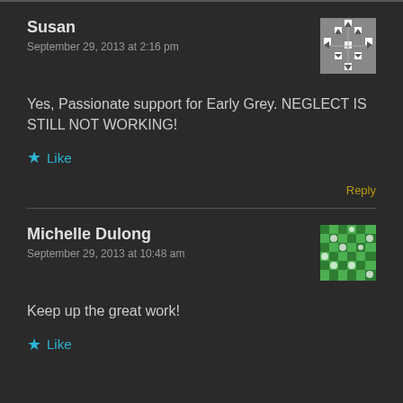Susan
September 29, 2013 at 2:16 pm
Yes, Passionate support for Early Grey. NEGLECT IS STILL NOT WORKING!
Like
Reply
Michelle Dulong
September 29, 2013 at 10:48 am
Keep up the great work!
Like